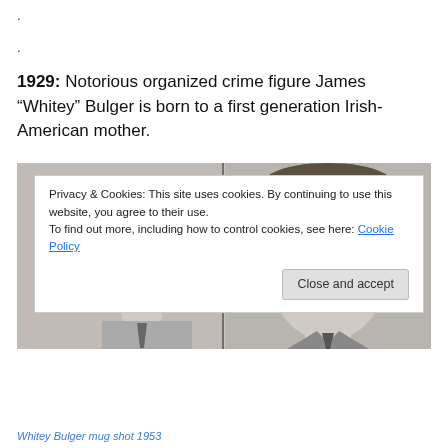.
.
1929: Notorious organized crime figure James “Whitey” Bulger is born to a first generation Irish-American mother.
[Figure (photo): Black and white mug shot of young Whitey Bulger, showing profile view on left and front-facing view with wide-brim hat on right, 1953]
Privacy & Cookies: This site uses cookies. By continuing to use this website, you agree to their use.
To find out more, including how to control cookies, see here: Cookie Policy
Whitey Bulger mug shot 1953